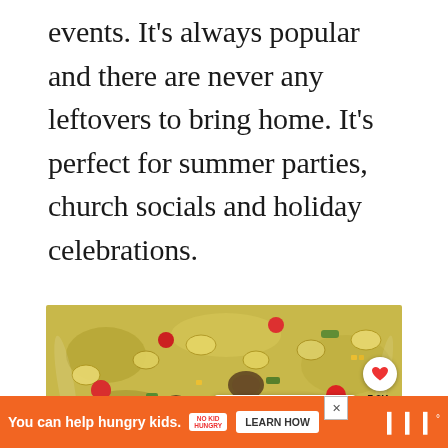events. It's always popular and there are never any leftovers to bring home. It's perfect for summer parties, church socials and holiday celebrations.
[Figure (photo): A bowl of pasta salad with shell pasta, cherry tomatoes, green peppers, corn, and other toppings. Overlay UI elements include a heart/save button showing 7.8K, a share button, and a 'What's Next: Baked Western...' recommendation panel. A 'recipes' watermark is at the bottom.]
You can help hungry kids. NO KID HUNGRY LEARN HOW